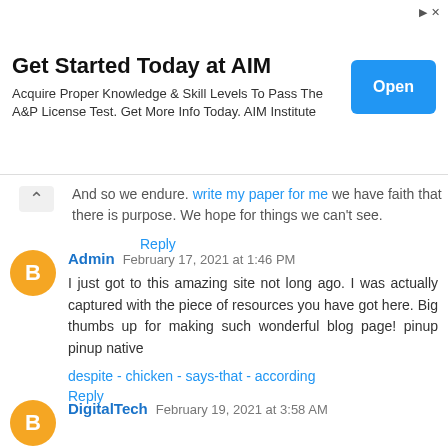[Figure (other): Advertisement banner: 'Get Started Today at AIM' with subtitle 'Acquire Proper Knowledge & Skill Levels To Pass The A&P License Test. Get More Info Today. AIM Institute' and an 'Open' button]
And so we endure. write my paper for me we have faith that there is purpose. We hope for things we can't see.
Reply
Admin  February 17, 2021 at 1:46 PM
I just got to this amazing site not long ago. I was actually captured with the piece of resources you have got here. Big thumbs up for making such wonderful blog page! pinup pinup native
despite - chicken - says-that - according
Reply
DigitalTech  February 19, 2021 at 3:58 AM